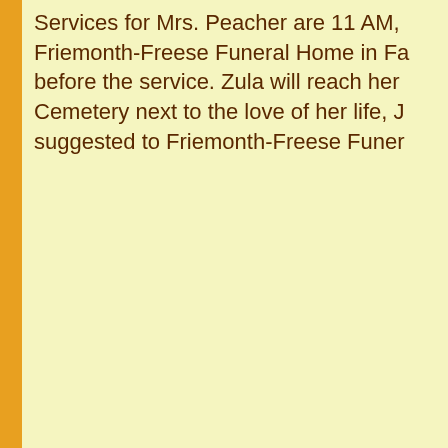Services for Mrs. Peacher are 11 AM, Friemonth-Freese Funeral Home in Fa before the service. Zula will reach her Cemetery next to the love of her life, J suggested to Friemonth-Freese Funer